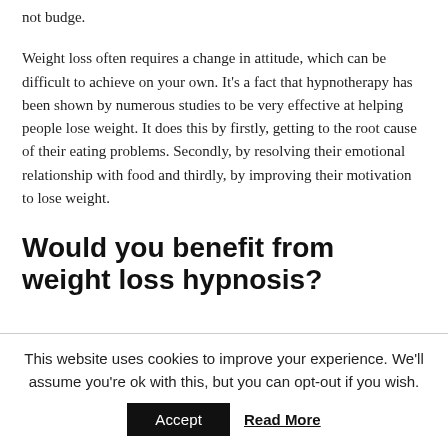not budge.
Weight loss often requires a change in attitude, which can be difficult to achieve on your own. It's a fact that hypnotherapy has been shown by numerous studies to be very effective at helping people lose weight. It does this by firstly, getting to the root cause of their eating problems. Secondly, by resolving their emotional relationship with food and thirdly, by improving their motivation to lose weight.
Would you benefit from weight loss hypnosis?
This website uses cookies to improve your experience. We'll assume you're ok with this, but you can opt-out if you wish.
Accept  Read More